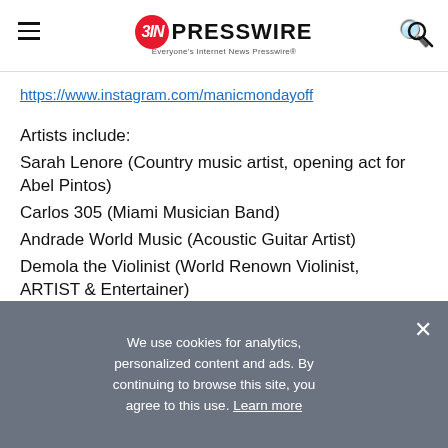EIN PRESSWIRE - Everyone's Internet News Presswire
https://www.instagram.com/manicmondayoff
Artists include:
Sarah Lenore (Country music artist, opening act for Abel Pintos)
Carlos 305 (Miami Musician Band)
Andrade World Music (Acoustic Guitar Artist)
Demola the Violinist (World Renown Violinist, ARTIST & Entertainer)
JD Lion (Musician, producer, drummer)
We use cookies for analytics, personalized content and ads. By continuing to browse this site, you agree to this use. Learn more